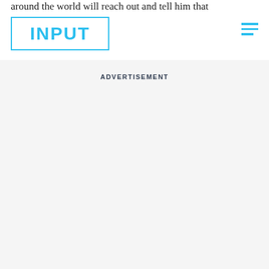around the world will reach out and tell him that they discover
[Figure (logo): INPUT magazine logo — bold cyan letters spelling INPUT inside a cyan rectangular border]
ADVERTISEMENT